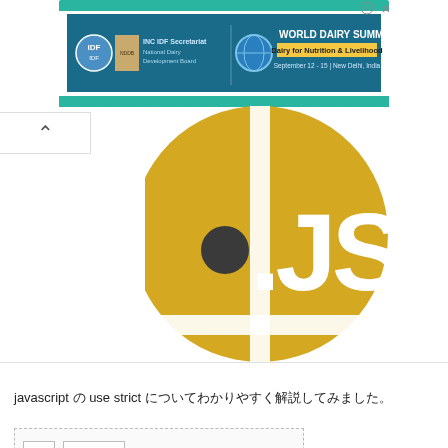[Figure (screenshot): Advertisement banner for World Dairy Summit 2022 with stamp-like border, IDF logos, globe icon, and text 'Dairy for Nutrition & Livelihood, September 12-15, New Delhi, India']
[Figure (logo): JavaScript (.JS) logo — gold/yellow circle with white vertical stripe, dark dot and '.JS' text in white on gold background]
javascript の use strict についてわかりやすく解説してみました。
[Figure (screenshot): Comment input box UI with two buttons (icons for image and text input)]